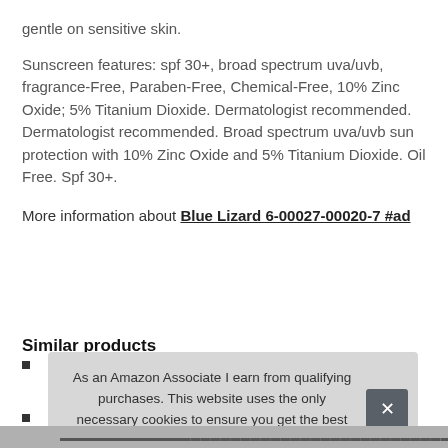gentle on sensitive skin.
Sunscreen features: spf 30+, broad spectrum uva/uvb, fragrance-Free, Paraben-Free, Chemical-Free, 10% Zinc Oxide; 5% Titanium Dioxide. Dermatologist recommended. Dermatologist recommended. Broad spectrum uva/uvb sun protection with 10% Zinc Oxide and 5% Titanium Dioxide. Oil Free. Spf 30+.
More information about Blue Lizard 6-00027-00020-7 #ad
Similar products
As an Amazon Associate I earn from qualifying purchases. This website uses the only necessary cookies to ensure you get the best experience on our website. More information